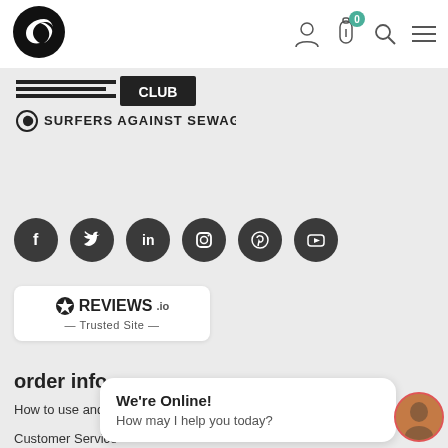[Figure (logo): Black circular logo with letter C]
[Figure (illustration): Header nav icons: user, bottle with badge 0, search, hamburger menu]
[Figure (logo): Two horizontal bar logos with CLUB text and Surfers Against Sewage logo]
[Figure (illustration): Six dark circular social media icons: Facebook, Twitter, LinkedIn, Instagram, Pinterest, YouTube]
[Figure (logo): REVIEWS.io badge with star icon and Trusted Site text]
order info
How to use and care fo...
Customer Service
FAQs
Privacy & Cookies
[Figure (screenshot): Chat bubble popup: We're Online! How may I help you today? with avatar]